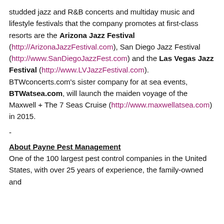studded jazz and R&B concerts and multiday music and lifestyle festivals that the company promotes at first-class resorts are the Arizona Jazz Festival (http://ArizonaJazzFestival.com), San Diego Jazz Festival (http://www.SanDiegoJazzFest.com) and the Las Vegas Jazz Festival (http://www.LVJazzFestival.com). BTWconcerts.com's sister company for at sea events, BTWatsea.com, will launch the maiden voyage of the Maxwell + The 7 Seas Cruise (http://www.maxwellatsea.com) in 2015.
-
About Payne Pest Management
One of the 100 largest pest control companies in the United States, with over 25 years of experience, the family-owned and